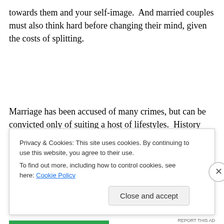towards them and your self-image.  And married couples must also think hard before changing their mind, given the costs of splitting.
Marriage has been accused of many crimes, but can be convicted only of suiting a host of lifestyles.  History shows it can knot us into almost any social formation – nuclear, feudal, or pharaonic.  The custom survived for millennia
Privacy & Cookies: This site uses cookies. By continuing to use this website, you agree to their use.
To find out more, including how to control cookies, see here: Cookie Policy
Close and accept